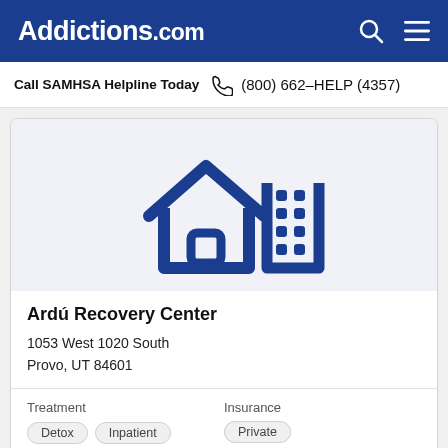Addictions.com
Call SAMHSA Helpline Today  (800) 662-HELP (4357)
[Figure (illustration): Blue icon of a house with a building/grid pattern, representing a recovery center facility, on a light grey background]
Ardú Recovery Center
1053 West 1020 South
Provo, UT 84601
Treatment
Detox  Inpatient
Insurance
Private